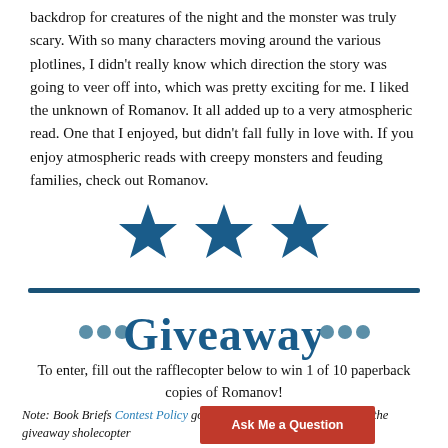backdrop for creatures of the night and the monster was truly scary. With so many characters moving around the various plotlines, I didn't really know which direction the story was going to veer off into, which was pretty exciting for me. I liked the unknown of Romanov. It all added up to a very atmospheric read. One that I enjoyed, but didn't fall fully in love with. If you enjoy atmospheric reads with creepy monsters and feuding families, check out Romanov.
[Figure (illustration): Three dark blue filled star icons arranged horizontally representing a 3-star rating]
[Figure (illustration): Giveaway logo/banner with decorative dots and stylized text reading Giveaway in blue]
To enter, fill out the rafflecopter below to win 1 of 10 paperback copies of Romanov!
Note: Book Briefs Contest Policy governs the terms and conditions of the giveaway sho... ...lecopter